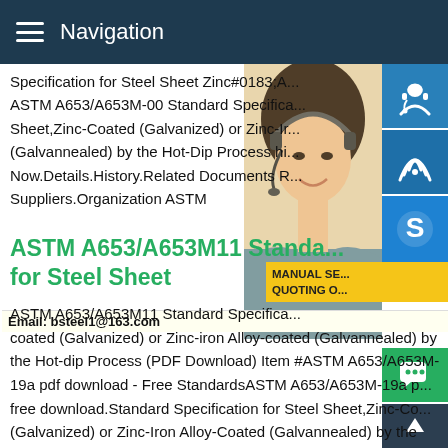Navigation
Specification for Steel Sheet Zinc#0183;A... ASTM A653/A653M-00 Standard Specification Sheet,Zinc-Coated (Galvanized) or Zinc-Ir... (Galvannealed) by the Hot-Dip Process hi... Now.Details.History.Related Documents R... Suppliers.Organization ASTM
ASTM A653/A653M11 Standard... for Steel Sheet
ASTM A653/A653M11 Standard Specifica... coated (Galvanized) or Zinc-iron Alloy-coated (Galvannealed) by the Hot-dip Process (PDF Download) Item #ASTM A653/A653M-19a pdf download - Free StandardsASTM A653/A653M-19a p... free download.Standard Specification for Steel Sheet,Zinc-Co... (Galvanized) or Zinc-Iron Alloy-Coated (Galvannealed) by the Dip Process.ASTM A653/A653M-19a covers steel sheet,zinc-
[Figure (photo): Woman with headset - customer service representative photo on right side of page]
[Figure (infographic): Three blue icon boxes on right: headset/support icon, phone/call icon, Skype icon. Yellow overlay with MANUAL SE... / QUOTING O... text. Email: bsteel1@163.com bar. Green chat button and dark up-arrow button at bottom right.]